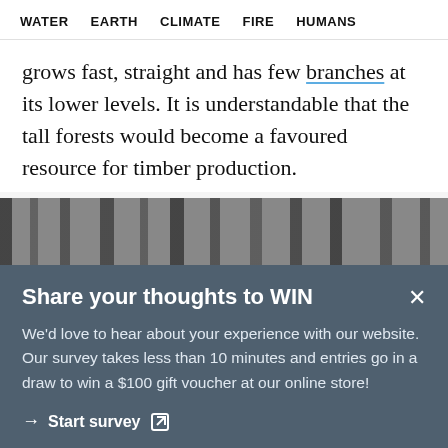WATER  EARTH  CLIMATE  FIRE  HUMANS
grows fast, straight and has few branches at its lower levels. It is understandable that the tall forests would become a favoured resource for timber production.
[Figure (photo): Black and white photograph of tall forest trees viewed from below, showing straight trunks in close proximity.]
Share your thoughts to WIN
We'd love to hear about your experience with our website. Our survey takes less than 10 minutes and entries go in a draw to win a $100 gift voucher at our online store!
→ Start survey ↗